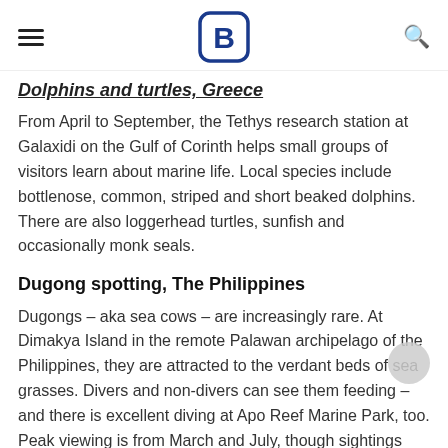[hamburger menu] [B logo] [search icon]
Dolphins and turtles, Greece
From April to September, the Tethys research station at Galaxidi on the Gulf of Corinth helps small groups of visitors learn about marine life. Local species include bottlenose, common, striped and short beaked dolphins. There are also loggerhead turtles, sunfish and occasionally monk seals.
Dugong spotting, The Philippines
Dugongs – aka sea cows – are increasingly rare. At Dimakya Island in the remote Palawan archipelago of the Philippines, they are attracted to the verdant beds of sea grasses. Divers and non-divers can see them feeding – and there is excellent diving at Apo Reef Marine Park, too. Peak viewing is from March and July, though sightings aren't guaranteed as the